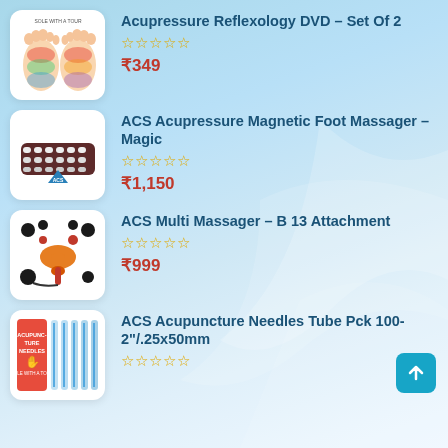Acupressure Reflexology DVD - Set Of 2
☆☆☆☆☆
₹349
ACS Acupressure Magnetic Foot Massager - Magic
☆☆☆☆☆
₹1,150
ACS Multi Massager - B 13 Attachment
☆☆☆☆☆
₹999
ACS Acupuncture Needles Tube Pck 100-2"/.25x50mm
☆☆☆☆☆